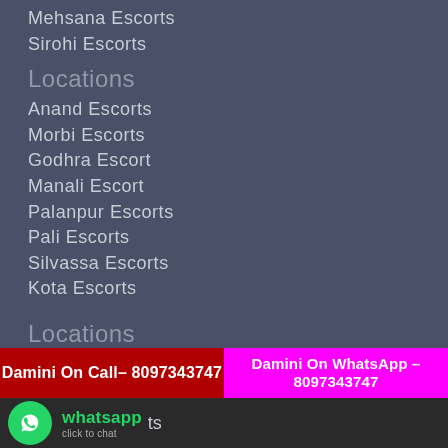Mehsana Escorts
Sirohi Escorts
Locations
Anand Escorts
Morbi Escorts
Godhra Escort
Manali Escort
Palanpur Escorts
Pali Escorts
Silvassa Escorts
Kota Escorts
Locations
Damini On Call– 8097343747
Damini On WhatsApp – 8097343747